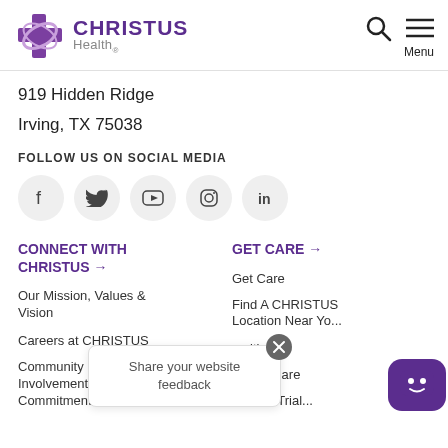CHRISTUS Health
919 Hidden Ridge
Irving, TX 75038
FOLLOW US ON SOCIAL MEDIA
[Figure (infographic): Social media icons: Facebook, Twitter, YouTube, Instagram, LinkedIn]
CONNECT WITH CHRISTUS →
Our Mission, Values & Vision
Careers at CHRISTUS
Community Involvement & Commitment
GET CARE →
Get Care
Find A CHRISTUS Location Near You
Specialties
Virtual Care
Clinical Trial...
Share your website feedback